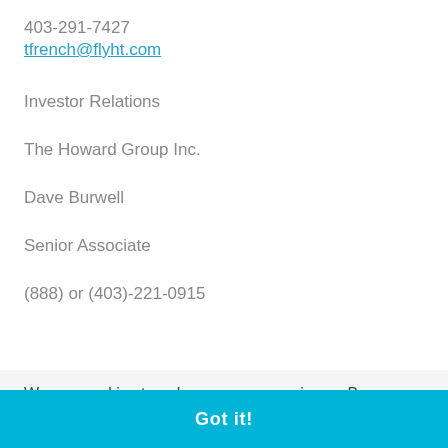403-291-7427
tfrench@flyht.com
Investor Relations
The Howard Group Inc.
Dave Burwell
Senior Associate
(888) or (403)-221-0915
We use cookies to enhance your experience. By continuing to visit this site you agree to our use of cookies. Learn more
Got it!